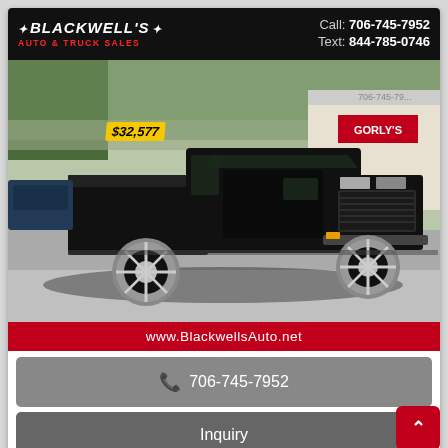BLACKWELL'S AUTO & TRUCK SALES | Call: 706-745-7952 | Text: 844-785-0746
[Figure (photo): Black classic pickup truck (custom build) with chrome wheels, parked at a car dealership lot. Price tag of $32,577 visible on windshield. Background shows trees and a building with 'GORLY'S' sign.]
$32,577
www.BlackwellsAuto.net
📞 706-745-7952
Inquiry
💬 Text Us